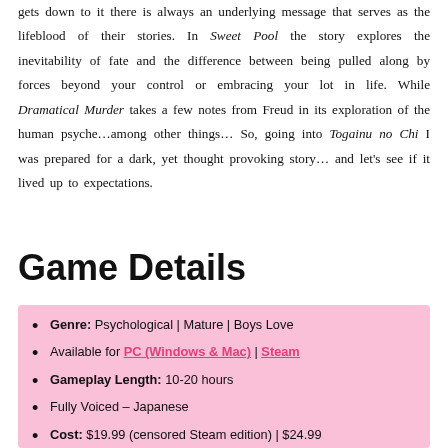gets down to it there is always an underlying message that serves as the lifeblood of their stories. In Sweet Pool the story explores the inevitability of fate and the difference between being pulled along by forces beyond your control or embracing your lot in life. While Dramatical Murder takes a few notes from Freud in its exploration of the human psyche…among other things… So, going into Togainu no Chi I was prepared for a dark, yet thought provoking story… and let's see if it lived up to expectations.
Game Details
Genre: Psychological | Mature | Boys Love
Available for PC (Windows & Mac) | Steam
Gameplay Length: 10-20 hours
Fully Voiced – Japanese
Cost: $19.99 (censored Steam edition) | $24.99